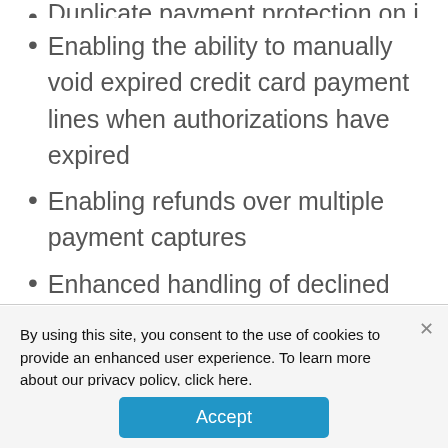Duplicate payment protection on invoicing
Enabling the ability to manually void expired credit card payment lines when authorizations have expired
Enabling refunds over multiple payment captures
Enhanced handling of declined secondary payment authorizations
By using this site, you consent to the use of cookies to provide an enhanced user experience. To learn more about our privacy policy, click here.
Accept